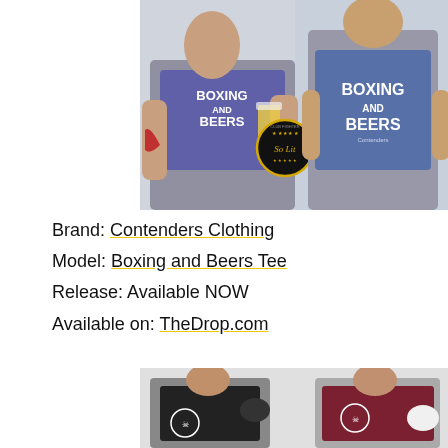[Figure (photo): Two men wearing purple/blue 'Boxing and Beers' t-shirts by Contenders Clothing. Left man sits wrapping hands holding a beer glass; right man stands against white background. A 'So Lit' badge overlays the center.]
Brand: Contenders Clothing
Model: Boxing and Beers Tee
Release: Available NOW
Available on: TheDrop.com
[Figure (photo): Two men in boxing gear. Left man in black shirt with skull logo throws a punch wearing boxing gloves. Right man in dark red/maroon shirt with skull logo holds white boxing gloves, looking to the side.]